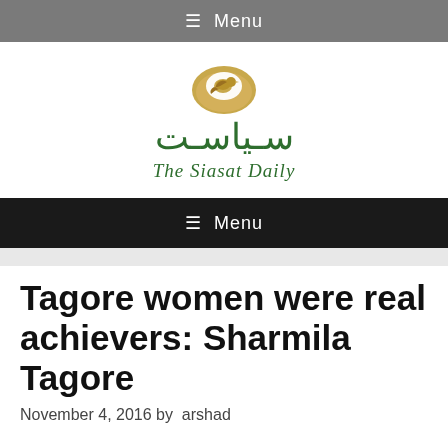≡ Menu
[Figure (logo): The Siasat Daily logo with bird emblem, Arabic text سیاست and English text 'The Siasat Daily' in dark green]
≡ Menu
Tagore women were real achievers: Sharmila Tagore
November 4, 2016 by arshad